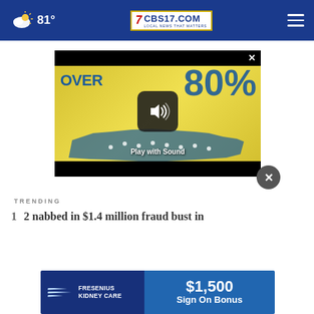CBS17.COM — Local News That Matters — 81°
[Figure (screenshot): Video player showing 'OVER 80%' infographic with USA map on yellow background, play with sound button overlay, and close button. Black bars top and bottom of player.]
[Figure (screenshot): Advertisement banner for Fresenius Kidney Care with '$1,500 Sign On Bonus' text]
TRENDING
1  2 nabbed in $1.4 million fraud bust in